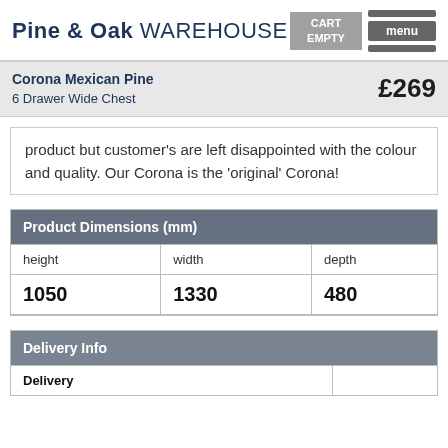Pine & Oak WAREHOUSE | CART EMPTY | menu
Corona Mexican Pine 6 Drawer Wide Chest £269
product but customer's are left disappointed with the colour and quality. Our Corona is the 'original' Corona!
| Product Dimensions (mm) |
| --- |
| height | width | depth |
| 1050 | 1330 | 480 |
| Delivery Info |
| --- |
| Delivery |